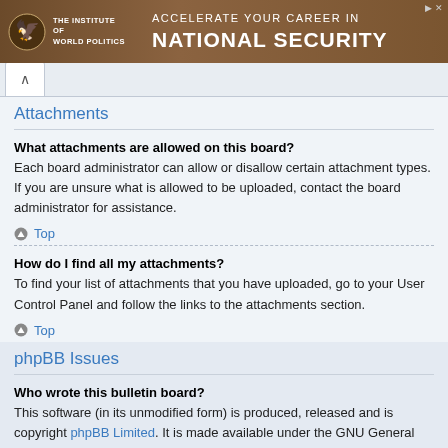[Figure (illustration): Banner advertisement for The Institute of World Politics showing logo and text 'ACCELERATE YOUR CAREER IN NATIONAL SECURITY']
Attachments
What attachments are allowed on this board?
Each board administrator can allow or disallow certain attachment types. If you are unsure what is allowed to be uploaded, contact the board administrator for assistance.
Top
How do I find all my attachments?
To find your list of attachments that you have uploaded, go to your User Control Panel and follow the links to the attachments section.
Top
phpBB Issues
Who wrote this bulletin board?
This software (in its unmodified form) is produced, released and is copyright phpBB Limited. It is made available under the GNU General Public License.